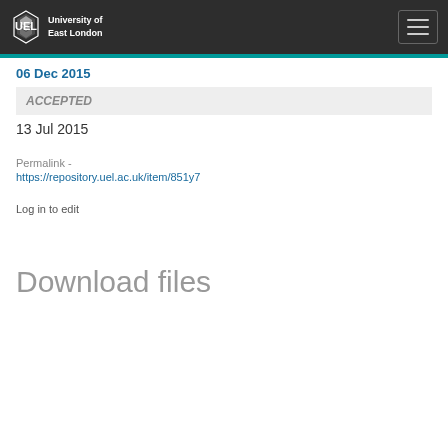University of East London
06 Dec 2015
ACCEPTED
13 Jul 2015
Permalink -
https://repository.uel.ac.uk/item/851y7
Log in to edit
Download files